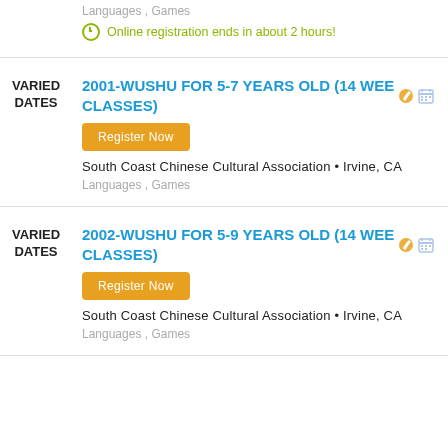Languages , Games
Online registration ends in about 2 hours!
2001-WUSHU FOR 5-7 YEARS OLD (14 WEEK CLASSES)
Register Now
South Coast Chinese Cultural Association • Irvine, CA
Languages , Games
2002-WUSHU FOR 5-9 YEARS OLD (14 WEEK CLASSES)
Register Now
South Coast Chinese Cultural Association • Irvine, CA
Languages , Games